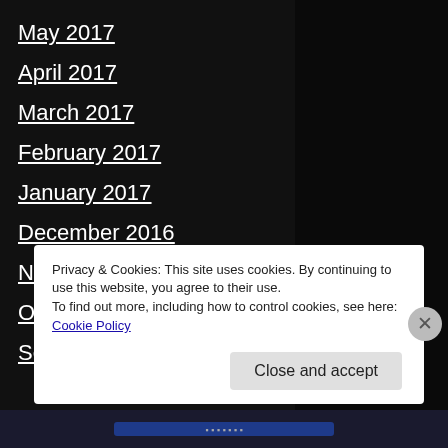May 2017
April 2017
March 2017
February 2017
January 2017
December 2016
November 2016
October 2016
September 2016
Privacy & Cookies: This site uses cookies. By continuing to use this website, you agree to their use. To find out more, including how to control cookies, see here: Cookie Policy
Close and accept